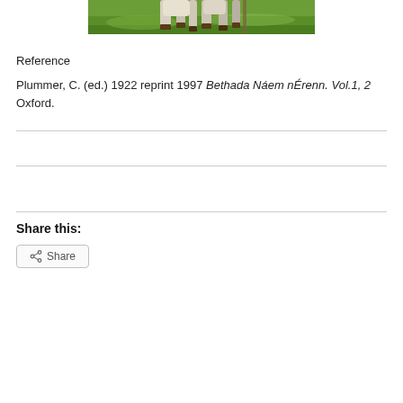[Figure (photo): Partial photo of calves/deer standing in green grass, only legs and lower body visible at the top of the page.]
Reference
Plummer, C. (ed.) 1922 reprint 1997 Bethada Náem nÉrenn. Vol.1, 2 Oxford.
Share this:
Share